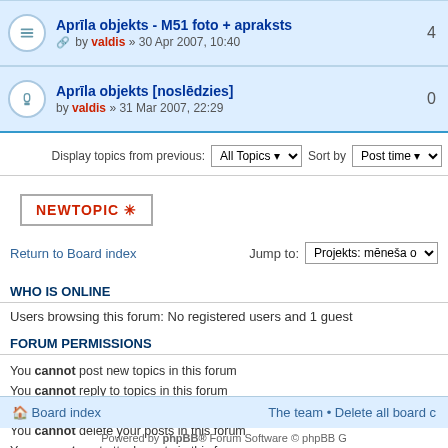Aprīla objekts - M51 foto + apraksts by valdis » 30 Apr 2007, 10:40 | 4
Aprīla objekts [noslēdzies] by valdis » 31 Mar 2007, 22:29 | 0
Display topics from previous: All Topics Sort by Post time
NEWTOPIC *
Return to Board index | Jump to: Projekts: mēneša o
WHO IS ONLINE
Users browsing this forum: No registered users and 1 guest
FORUM PERMISSIONS
You cannot post new topics in this forum
You cannot reply to topics in this forum
You cannot edit your posts in this forum
You cannot delete your posts in this forum
You cannot post attachments in this forum
Board index | The team • Delete all board c
Powered by phpBB® Forum Software © phpBB G